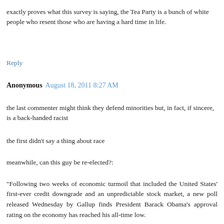exactly proves what this survey is saying, the Tea Party is a bunch of white people who resent those who are having a hard time in life.
Reply
Anonymous  August 18, 2011 8:27 AM
the last commenter might think they defend minorities but, in fact, if sincere, is a back-handed racist
the first didn't say a thing about race
meanwhile, can this guy be re-elected?:
"Following two weeks of economic turmoil that included the United States' first-ever credit downgrade and an unpredictable stock market, a new poll released Wednesday by Gallup finds President Barack Obama's approval rating on the economy has reached his all-time low.
The new poll, conducted Aug. 11-14, finds that only 26